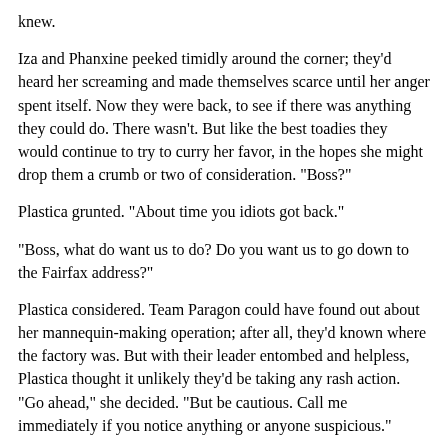knew.
Iza and Phanxine peeked timidly around the corner; they'd heard her screaming and made themselves scarce until her anger spent itself. Now they were back, to see if there was anything they could do. There wasn't. But like the best toadies they would continue to try to curry her favor, in the hopes she might drop them a crumb or two of consideration. "Boss?"
Plastica grunted. "About time you idiots got back."
"Boss, what do want us to do? Do you want us to go down to the Fairfax address?"
Plastica considered. Team Paragon could have found out about her mannequin-making operation; after all, they'd known where the factory was. But with their leader entombed and helpless, Plastica thought it unlikely they'd be taking any rash action. "Go ahead," she decided. "But be cautious. Call me immediately if you notice anything or anyone suspicious."
They nodded and left, less cocksure than they'd been few days before, when the operation was daring and new. Plastica gave the wreckage one last look, sighed, and left the factory herself. She had to put in an appearance that day at Sexateria and had to get cleaned up before she became Paula Jean. She was smudged all